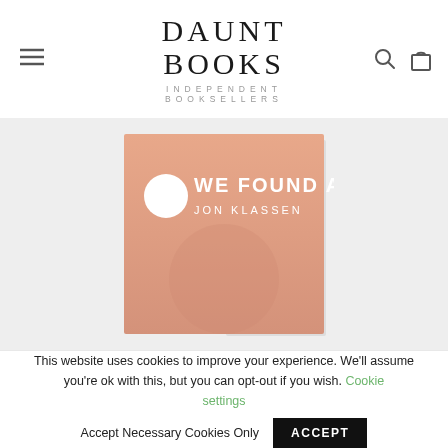DAUNT BOOKS — INDEPENDENT BOOKSELLERS
[Figure (photo): Book cover of 'We Found a Hat' by Jon Klassen. A salmon/peach-colored square book cover with white text and a small circular emblem with a bird silhouette on the left. Displayed on a light gray background.]
This website uses cookies to improve your experience. We'll assume you're ok with this, but you can opt-out if you wish. Cookie settings  Accept Necessary Cookies Only  ACCEPT